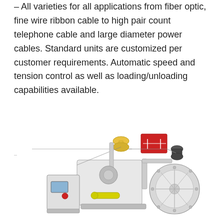– All varieties for all applications from fiber optic, fine wire ribbon cable to high pair count telephone cable and large diameter power cables. Standard units are customized per customer requirements. Automatic speed and tension control as well as loading/unloading capabilities available.
[Figure (photo): Industrial cable taping/wrapping machine with spools, bobbins, control panel with blue screen and red button, yellow-handled component, and a large reel on the right side. The machine is white/grey colored on a white background.]